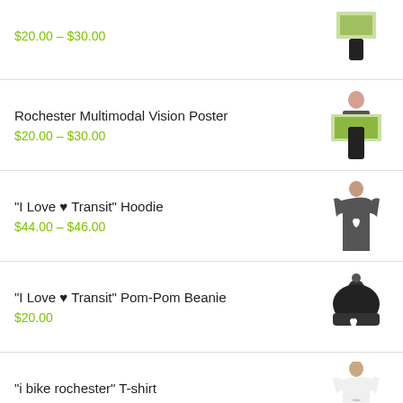$20.00 – $30.00 (partial top item)
Rochester Multimodal Vision Poster
$20.00 – $30.00
"I Love ♥ Transit" Hoodie
$44.00 – $46.00
"I Love ♥ Transit" Pom-Pom Beanie
$20.00
"i bike rochester" T-shirt
$25.00
"Get Multimodal" Hoodie
$44.00 – $46.00